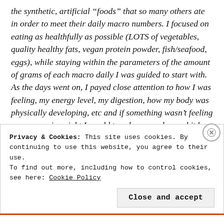the synthetic, artificial “foods” that so many others ate in order to meet their daily macro numbers. I focused on eating as healthfully as possible (LOTS of vegetables, quality healthy fats, vegan protein powder, fish/seafood, eggs), while staying within the parameters of the amount of grams of each macro daily I was guided to start with. As the days went on, I payed close attention to how I was feeling, my energy level, my digestion, how my body was physically developing, etc and if something wasn’t feeling or progressing right I would tweak my numbers a bit by adding or subtracting some macros from one area or another.
Privacy & Cookies: This site uses cookies. By continuing to use this website, you agree to their use.
To find out more, including how to control cookies, see here: Cookie Policy
Close and accept